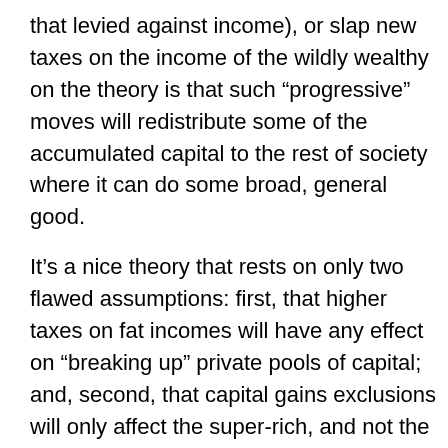that levied against income), or slap new taxes on the income of the wildly wealthy on the theory is that such “progressive” moves will redistribute some of the accumulated capital to the rest of society where it can do some broad, general good.
It’s a nice theory that rests on only two flawed assumptions: first, that higher taxes on fat incomes will have any effect on “breaking up” private pools of capital; and, second, that capital gains exclusions will only affect the super-rich, and not the majority of entrepreneurs who dutifully ply their trades somewhere in the middle of the pack of affluence.
Nope, the solution is, was and and always shall be right in front of our faces: Persuade The Wealthy 86 to buy New Brunswick.